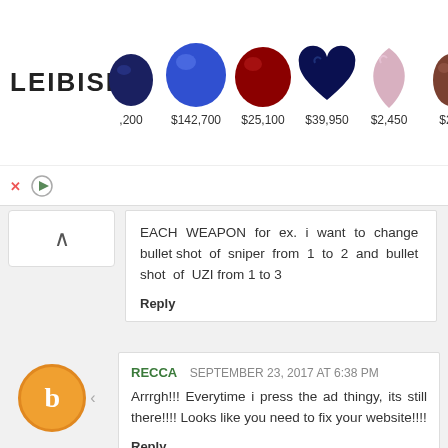[Figure (other): Leibish gemstone advertisement banner showing colored gemstones (sapphires, ruby, heart-shaped sapphire, pink diamond) with prices: ,200, $142,700, $25,100, $39,950, $2,450, $2,... with close and play buttons]
EACH WEAPON for ex. i want to change bullet shot of sniper from 1 to 2 and bullet shot of UZI from 1 to 3
Reply
RECCA  SEPTEMBER 23, 2017 AT 6:38 PM
Arrrgh!!! Everytime i press the ad thingy, its still there!!!! Looks like you need to fix your website!!!!
Reply
UNKNOWN  OCTOBER 16, 2017 AT 10:25 AM
update cese hoga
Reply
UNKNOWN  OCTOBER 24, 2017 AT 7:37 AM